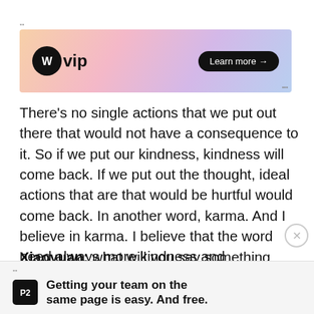[Figure (screenshot): WordPress VIP advertisement banner with gradient orange-pink-purple background, WP logo circle, 'vip' text, and 'Learn more →' dark button]
There's no single actions that we put out there that would not have a consequence to it. So if we put our kindness, kindness will come back. If we put out the thought, ideal actions that are that would be hurtful would come back. In another word, karma. And I believe in karma. I believe that the word need always more kindness and compassion. Those are our family values. And we stuck with it.
Xiaoyuan: what will you say something to the voters in the Chinese community
[Figure (screenshot): P2 advertisement banner with dark P2 logo and text 'Getting your team on the same page is easy. And free.']